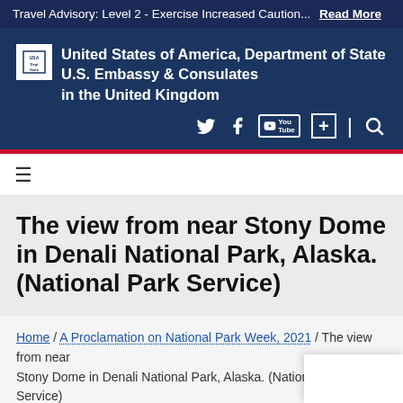Travel Advisory: Level 2 - Exercise Increased Caution... Read More
[Figure (logo): United States of America, Department of State seal/logo placeholder box with U.S. Embassy & Consulates in the United Kingdom header text]
U.S. Embassy & Consulates in the United Kingdom
The view from near Stony Dome in Denali National Park, Alaska. (National Park Service)
Home / A Proclamation on National Park Week, 2021 / The view from near Stony Dome in Denali National Park, Alaska. (National Park Service)